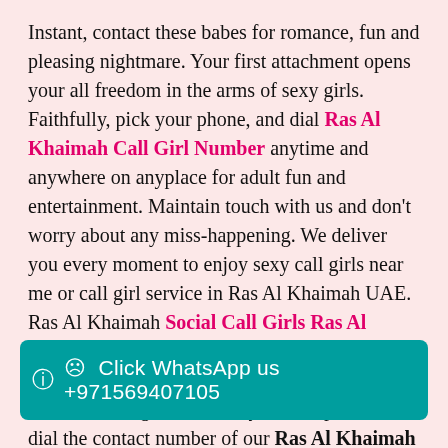Instant, contact these babes for romance, fun and pleasing nightmare. Your first attachment opens your all freedom in the arms of sexy girls. Faithfully, pick your phone, and dial Ras Al Khaimah Call Girl Number anytime and anywhere on anyplace for adult fun and entertainment. Maintain touch with us and don't worry about any miss-happening. We deliver you every moment to enjoy sexy call girls near me or call girl service in Ras Al Khaimah UAE. Ras Al Khaimah Social Call Girls Ras Al Khaimah proudly launched in our escort agency at call Girls near me by beautiful Ras Al Khaimah call girls. Collect your cell phone and dial the contact number of our Ras Al Khaimah Models Escorts to speed up your excitement and fun.
Suppose you search for Independent Female Model Ras Al Khaimah who love you like a girlfriend and spend some quality time with you. In that case, you are precisely visiting a right place because our call girls are hi... romance and pleasure with hot, sexy, gorgeous and
Click WhatsApp us +971569407105